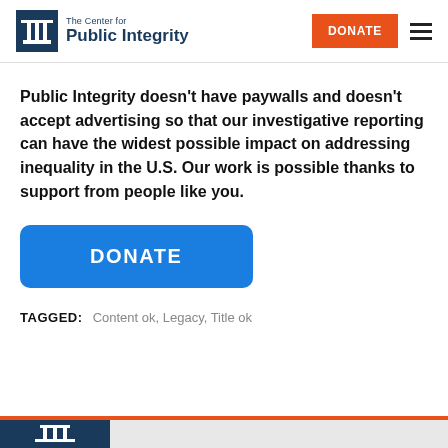The Center for Public Integrity — DONATE
Public Integrity doesn't have paywalls and doesn't accept advertising so that our investigative reporting can have the widest possible impact on addressing inequality in the U.S. Our work is possible thanks to support from people like you.
[Figure (other): Blue DONATE button]
TAGGED: Content ok, Legacy, Title ok